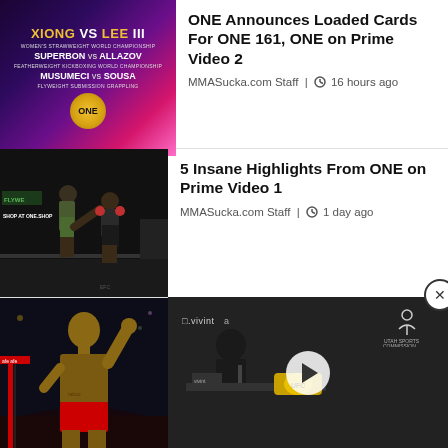[Figure (photo): ONE Championship event poster for ONE 161 featuring Xiong vs Lee III, Superbon vs Allazov, Musumeci vs Sousa with colorful promotional graphics]
ONE Announces Loaded Cards For ONE 161, ONE on Prime Video 2
MMASucka.com Staff | 16 hours ago
[Figure (photo): MMA fighters in a ring with one fighter kicking, dark arena background with advertisements visible including FLYWEIGHT and ONE.SHOP]
5 Insane Highlights From ONE on Prime Video 1
MMASucka.com Staff | 1 day ago
[Figure (photo): UFC fighter celebrating in the octagon with one hand raised, red corner visible, dark arena background]
[Figure (screenshot): Video player overlay showing a person at a press conference table with UFC championship belt, vivint logo visible, Utah Sports Commission logo visible, play button in center]